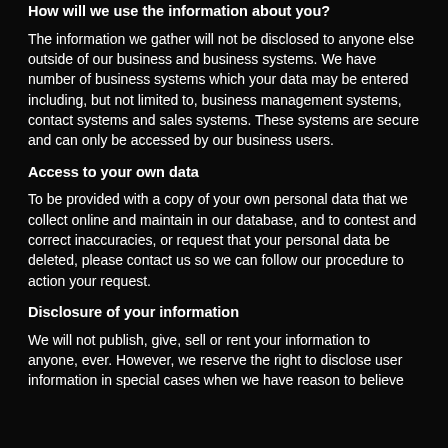How will we use the information about you?
The information we gather will not be disclosed to anyone else outside of our business and business systems. We have number of business systems which your data may be entered including, but not limited to, business management systems, contact systems and sales systems. These systems are secure and can only be accessed by our business users.
Access to your own data
To be provided with a copy of your own personal data that we collect online and maintain in our database, and to contest and correct inaccuracies, or request that your personal data be deleted, please contact us so we can follow our procedure to action your request.
Disclosure of your information
We will not publish, give, sell or rent your information to anyone, ever. However, we reserve the right to disclose user information in special cases when we have reason to believe